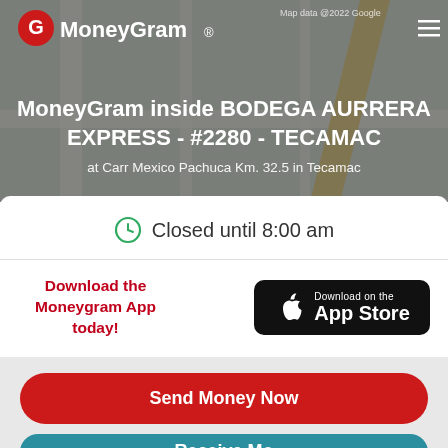[Figure (screenshot): MoneyGram app header with map background showing Tecamac area map, MoneyGram logo top left, hamburger menu top right, Map data 2022 Google text]
MoneyGram inside BODEGA AURRERA EXPRESS - #2280 - TECAMAC
at Carr Mexico Pachuca Km. 32.5 in Tecamac
Closed until 8:00 am
Download the Moneygram App today!
[Figure (logo): Download on the App Store button (black background, Apple logo)]
Send Money Now
Receive Mo...